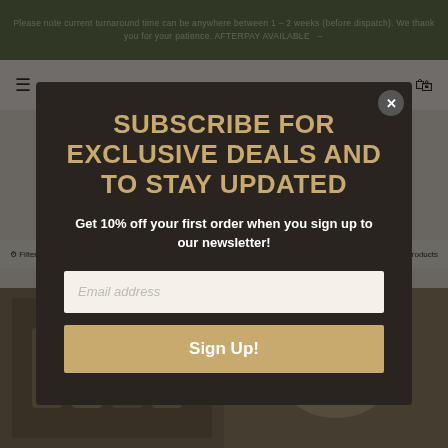Please note current turnaround time can be anywhere between 1 – 2 weeks (before dispatch). We thank you for your patience. AFTERPAY AVAILABLE →
[Figure (screenshot): E-commerce website background showing navigation bar and product images of spice jars and other kitchen items]
SUBSCRIBE FOR EXCLUSIVE DEALS AND TO STAY UPDATED
Get 10% off your first order when you sign up to our newsletter!
Email address
Sign Up!